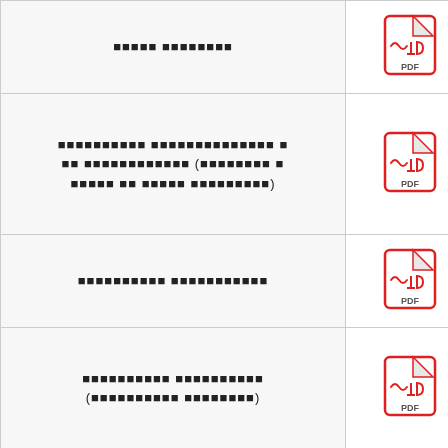| [REDACTED TEXT] | PDF icon |
| [REDACTED TEXT MULTILINE] | PDF icon |
| [REDACTED TEXT] | PDF icon |
| [REDACTED TEXT MULTILINE] | PDF icon |
| [REDACTED TEXT] | PDF icon |
| [REDACTED TEXT] | PDF icon |